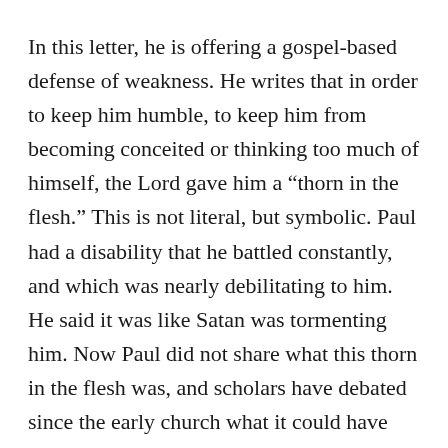In this letter, he is offering a gospel-based defense of weakness. He writes that in order to keep him humble, to keep him from becoming conceited or thinking too much of himself, the Lord gave him a “thorn in the flesh.” This is not literal, but symbolic. Paul had a disability that he battled constantly, and which was nearly debilitating to him. He said it was like Satan was tormenting him. Now Paul did not share what this thorn in the flesh was, and scholars have debated since the early church what it could have been. We can safely assume it was some form of disability or illness, and the